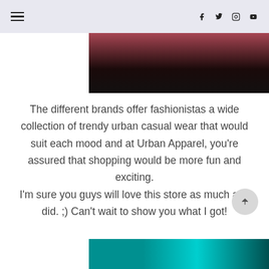navigation bar with hamburger menu and social icons (Facebook, Twitter, Instagram, YouTube)
[Figure (photo): Dark photo partially visible at the top of the page, showing a dimly lit scene with warm pink/red tones in the upper portion.]
The different brands offer fashionistas a wide collection of trendy urban casual wear that would suit each mood and at Urban Apparel, you're assured that shopping would be more fun and exciting.
I'm sure you guys will love this store as much as I did. ;) Can't wait to show you what I got!
[Figure (photo): Bottom photo partially visible, showing a teal/cyan background with what appear to be decorative figures or accessories.]